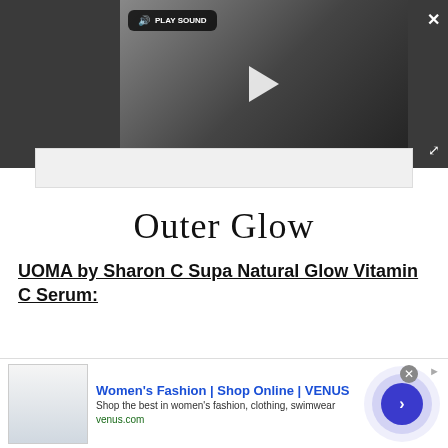[Figure (screenshot): Video player overlay with dark background showing a video frame of a woman, a PLAY SOUND button in top left, a play button in center, a close X button top right, an expand button bottom right, and subtitle text 'that are also high-fashion']
Outer Glow
UOMA by Sharon C Supa Natural Glow Vitamin C Serum:
[Figure (screenshot): Advertisement banner for Women's Fashion | Shop Online | VENUS. Shows thumbnail image of website, ad title 'Women's Fashion | Shop Online | VENUS', description 'Shop the best in women's fashion, clothing, swimwear', URL 'venus.com', a close button, an info icon, and a blue circular arrow button with ripple rings.]